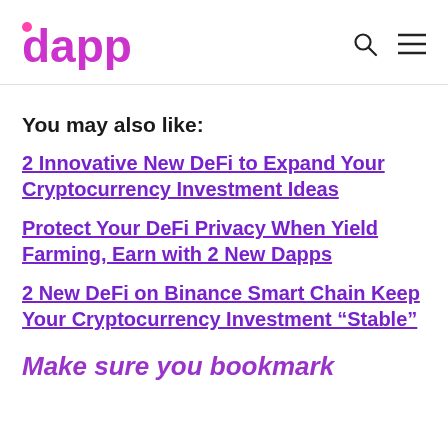dapp
You may also like:
2 Innovative New DeFi to Expand Your Cryptocurrency Investment Ideas
Protect Your DeFi Privacy When Yield Farming, Earn with 2 New Dapps
2 New DeFi on Binance Smart Chain Keep Your Cryptocurrency Investment “Stable”
Make sure you bookmark